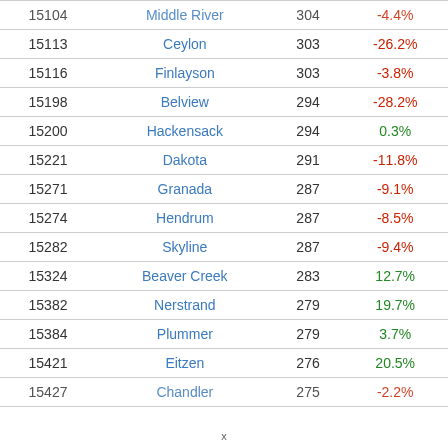| ID | Name | Value | Change |
| --- | --- | --- | --- |
| 15104 | Middle River | 304 | -4.4% |
| 15113 | Ceylon | 303 | -26.2% |
| 15116 | Finlayson | 303 | -3.8% |
| 15198 | Belview | 294 | -28.2% |
| 15200 | Hackensack | 294 | 0.3% |
| 15221 | Dakota | 291 | -11.8% |
| 15271 | Granada | 287 | -9.1% |
| 15274 | Hendrum | 287 | -8.5% |
| 15282 | Skyline | 287 | -9.4% |
| 15324 | Beaver Creek | 283 | 12.7% |
| 15382 | Nerstrand | 279 | 19.7% |
| 15384 | Plummer | 279 | 3.7% |
| 15421 | Eitzen | 276 | 20.5% |
| 15427 | Chandler | 275 | -2.2% |